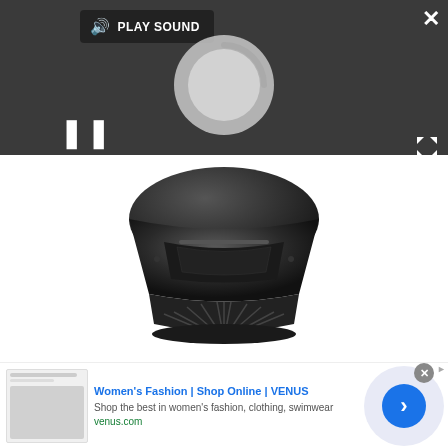[Figure (screenshot): Video player overlay in dark gray with PLAY SOUND button top center, loading spinner circle, pause icon bottom left, close X top right, expand arrows bottom right]
[Figure (photo): LG Smart Security Solution device - a black dome-shaped security camera/sensor with ventilation slots at the base, viewed from above]
1. LG Smart Security Solution
[Figure (screenshot): Advertisement banner: Women's Fashion | Shop Online | VENUS - Shop the best in women's fashion, clothing, swimwear - venus.com - with thumbnail image and blue arrow button]